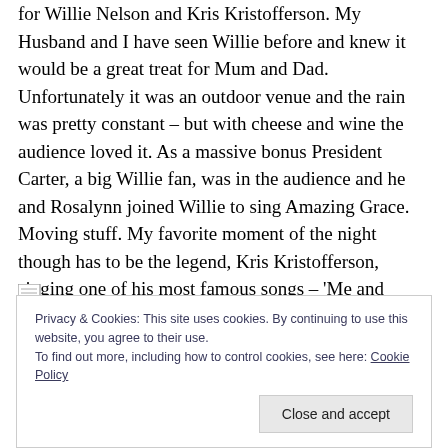for Willie Nelson and Kris Kristofferson. My Husband and I have seen Willie before and knew it would be a great treat for Mum and Dad. Unfortunately it was an outdoor venue and the rain was pretty constant – but with cheese and wine the audience loved it. As a massive bonus President Carter, a big Willie fan, was in the audience and he and Rosalynn joined Willie to sing Amazing Grace. Moving stuff. My favorite moment of the night though has to be the legend, Kris Kristofferson, singing one of his most famous songs – 'Me and Bobby McGee'.
Privacy & Cookies: This site uses cookies. By continuing to use this website, you agree to their use.
To find out more, including how to control cookies, see here: Cookie Policy